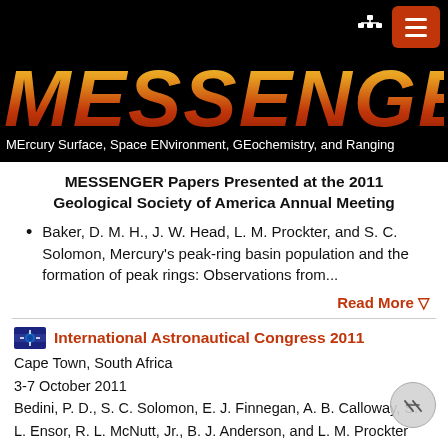MESSENGER — MErcury Surface, Space ENvironment, GEochemistry, and Ranging
MESSENGER Papers Presented at the 2011 Geological Society of America Annual Meeting
Baker, D. M. H., J. W. Head, L. M. Prockter, and S. C. Solomon, Mercury's peak-ring basin population and the formation of peak rings: Observations from...
Read More ⊙
International Astronautical Congress 2011
Cape Town, South Africa
3-7 October 2011
Bedini, P. D., S. C. Solomon, E. J. Finnegan, A. B. Calloway, S. L. Ensor, R. L. McNutt, Jr., B. J. Anderson, and L. M. Prockter
MESSENGER...